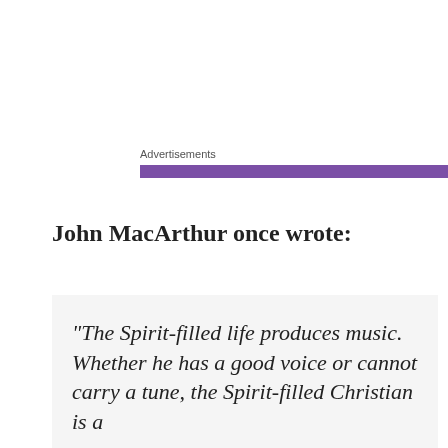Advertisements
John MacArthur once wrote:
“The Spirit-filled life produces music. Whether he has a good voice or cannot carry a tune, the Spirit-filled Christian is a
Privacy & Cookies: This site uses cookies. By continuing to use this website, you agree to their use.
To find out more, including how to control cookies, see here: Cookie Policy
Close and accept
was not mountain-moving faith, an